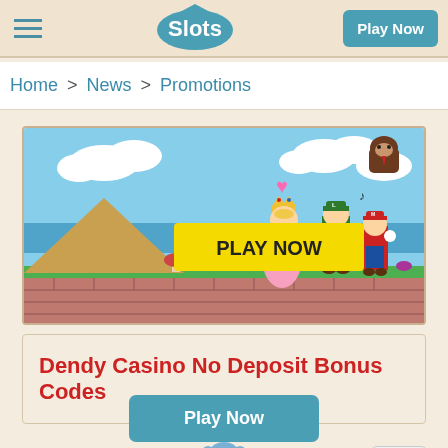Slots - Play Now
Home > News > Promotions
[Figure (illustration): Video game style banner with Princess Peach, Luigi, Mario, and Donkey Kong characters on a side-scrolling platformer background with a yellow PLAY NOW button]
Dendy Casino No Deposit Bonus Codes
[Figure (logo): Dendy Casino logo featuring a cartoon elephant mascot with colorful DENDY CASINO text below]
Play Now